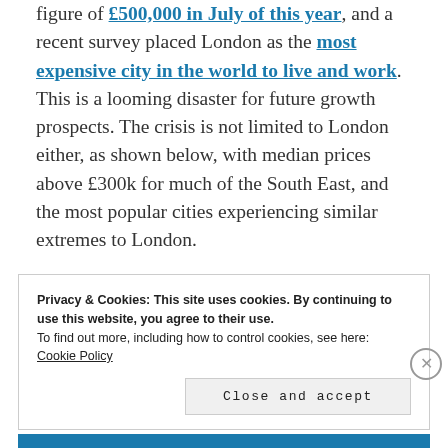figure of £500,000 in July of this year, and a recent survey placed London as the most expensive city in the world to live and work. This is a looming disaster for future growth prospects. The crisis is not limited to London either, as shown below, with median prices above £300k for much of the South East, and the most popular cities experiencing similar extremes to London.
Privacy & Cookies: This site uses cookies. By continuing to use this website, you agree to their use.
To find out more, including how to control cookies, see here:
Cookie Policy